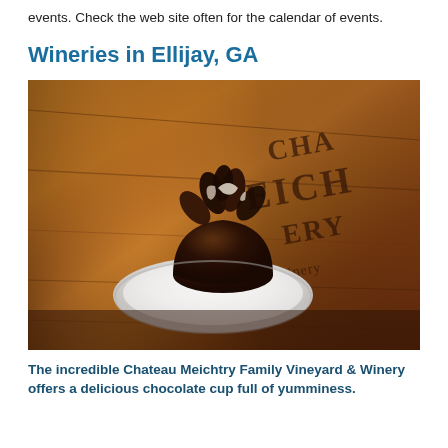events. Check the web site often for the calendar of events.
Wineries in Ellijay, GA
[Figure (photo): A photograph of a chocolate cup with swirled chocolate petals sitting on a white saucer plate, placed on a wooden table with the Chateau Meichtry winery logo engraved in the wood background.]
The incredible Chateau Meichtry Family Vineyard & Winery offers a delicious chocolate cup full of yumminess.